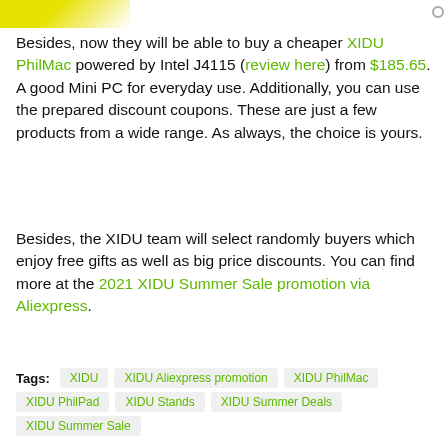[Figure (photo): Partial image strip at top showing yellow/green color on left side and a dark device on right side with a circular icon]
Besides, now they will be able to buy a cheaper XIDU PhilMac powered by Intel J4115 (review here) from $185.65. A good Mini PC for everyday use. Additionally, you can use the prepared discount coupons. These are just a few products from a wide range. As always, the choice is yours.
Besides, the XIDU team will select randomly buyers which enjoy free gifts as well as big price discounts. You can find more at the 2021 XIDU Summer Sale promotion via Aliexpress.
Tags: XIDU  XIDU Aliexpress promotion  XIDU PhilMac  XIDU PhilPad  XIDU Stands  XIDU Summer Deals  XIDU Summer Sale